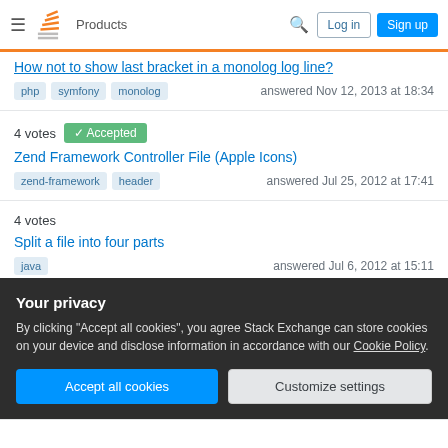≡ [Stack Overflow logo] Products 🔍 Log in Sign up
How not to show last bracket in a monolog log line?
php  symfony  monolog   answered Nov 12, 2013 at 18:34
4 votes  ✓ Accepted
Zend Framework Controller File (Apple Icons)
zend-framework  header   answered Jul 25, 2012 at 17:41
4 votes
Split a file into four parts
java   answered Jul 6, 2012 at 15:11
Your privacy
By clicking "Accept all cookies", you agree Stack Exchange can store cookies on your device and disclose information in accordance with our Cookie Policy.
Accept all cookies   Customize settings